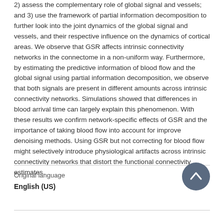2) assess the complementary role of global signal and vessels; and 3) use the framework of partial information decomposition to further look into the joint dynamics of the global signal and vessels, and their respective influence on the dynamics of cortical areas. We observe that GSR affects intrinsic connectivity networks in the connectome in a non-uniform way. Furthermore, by estimating the predictive information of blood flow and the global signal using partial information decomposition, we observe that both signals are present in different amounts across intrinsic connectivity networks. Simulations showed that differences in blood arrival time can largely explain this phenomenon. With these results we confirm network-specific effects of GSR and the importance of taking blood flow into account for improve denoising methods. Using GSR but not correcting for blood flow might selectively introduce physiological artifacts across intrinsic connectivity networks that distort the functional connectivity estimates.
Original language
English (US)